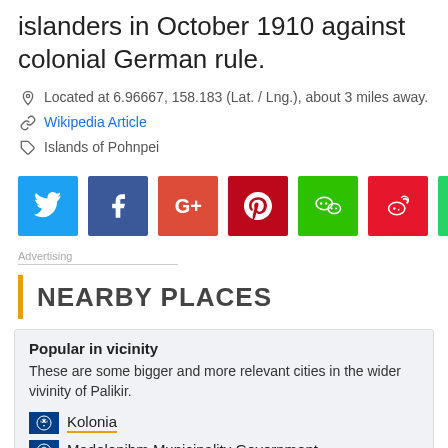islanders in October 1910 against colonial German rule.
Located at 6.96667, 158.183 (Lat. / Lng.), about 3 miles away.
Wikipedia Article
Islands of Pohnpei
[Figure (infographic): Social share buttons: Twitter, Facebook, Google+, Pinterest, WeChat, Weibo, WhatsApp]
Advertising
NEARBY PLACES
Popular in vicinity
These are some bigger and more relevant cities in the wider vivinity of Palikir.
Kolonia
Madolenihm Municipality Government
Ngatik